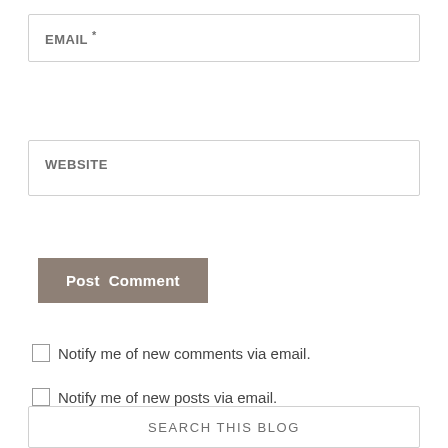EMAIL *
WEBSITE
Post Comment
Notify me of new comments via email.
Notify me of new posts via email.
SEARCH THIS BLOG